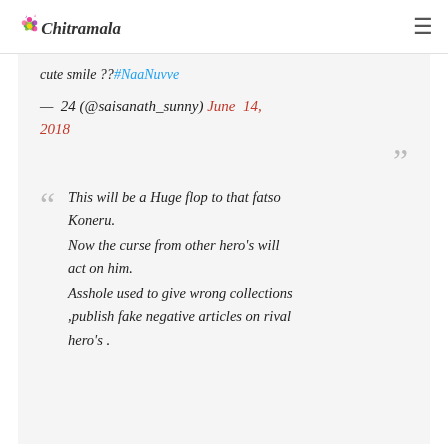Chitramala
cute smile ??#NaaNuvve
— 24 (@saisanath_sunny) June 14, 2018
This will be a Huge flop to that fatso Koneru.
Now the curse from other hero's will act on him.
Asshole used to give wrong collections ,publish fake negative articles on rival hero's .